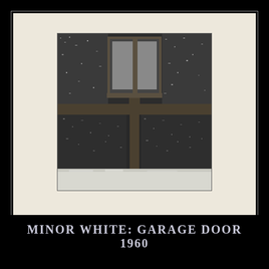[Figure (photo): Black and white photograph of a garage door with snow on it, showing wooden siding panels, a window at the top, and a vertical divider creating a cross-like pattern. The scene is covered in snow, giving a textured, wintry appearance.]
MINOR WHITE: GARAGE DOOR 1960